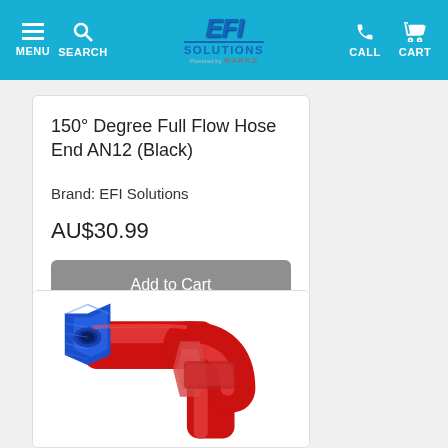EFI Solutions powered by MARKS — MENU | SEARCH | CALL | CART
150° Degree Full Flow Hose End AN12 (Black)
Brand: EFI Solutions
AU$30.99
Add to Cart
[Figure (photo): 150 degree full flow AN12 hose end fitting in red and blue anodized aluminum, showing the 150-degree bend with blue female end fitting]